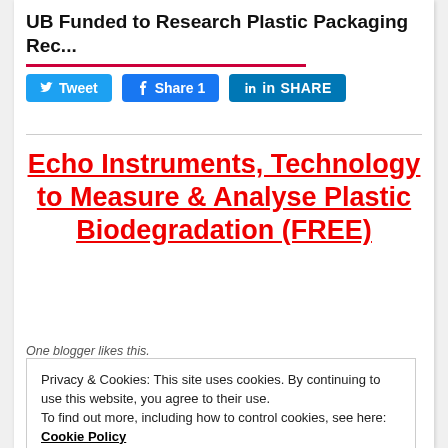UB Funded to Research Plastic Packaging Rec...
[Figure (infographic): Social sharing buttons: Tweet (Twitter, blue), Share 1 (Facebook, blue), SHARE (LinkedIn, dark blue)]
Echo Instruments, Technology to Measure & Analyse Plastic Biodegradation (FREE)
Privacy & Cookies: This site uses cookies. By continuing to use this website, you agree to their use.
To find out more, including how to control cookies, see here: Cookie Policy
Close and accept
One blogger likes this.